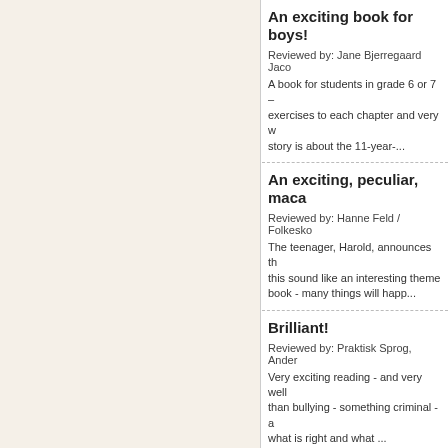An exciting book for boys!
Reviewed by: Jane Bjerregaard Jaco
A book for students in grade 6 or 7 – exercises to each chapter and very w story is about the 11-year-...
An exciting, peculiar, maca
Reviewed by: Hanne Feld / Folkesko
The teenager, Harold, announces th this sound like an interesting theme book - many things will happ...
Brilliant!
Reviewed by: Praktisk Sprog, Ander
Very exciting reading - and very well than bullying - something criminal - a what is right and what ...
Caperucita Roja en Manha
Reviewed by: Noemi Kemmries
On page 76 is a big mistake: " se tra Napoleón Bonaparte"; this is not co reading this book ...